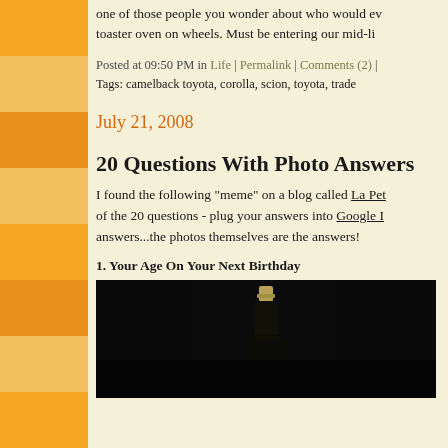one of those people you wonder about who would ev... toaster oven on wheels. Must be entering our mid-li...
Posted at 09:50 PM in Life | Permalink | Comments (2) |
Tags: camelback toyota, corolla, scion, toyota, trade...
July 21, 2008
20 Questions With Photo Answers
I found the following "meme" on a blog called La Pet... of the 20 questions - plug your answers into Google I... answers...the photos themselves are the answers!
1. Your Age On Your Next Birthday
[Figure (photo): Dark background photo showing what appears to be a black bottle or case with a metallic cap/top, shot against a dark background]